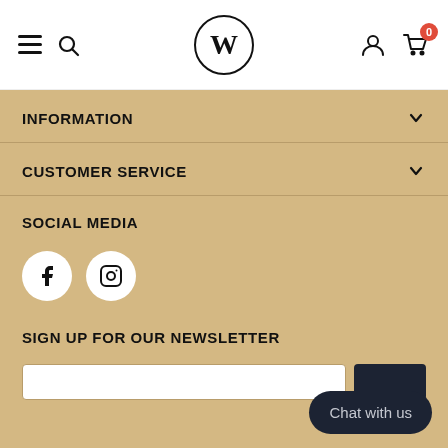W [logo] — navigation header with hamburger, search, logo W, user icon, cart (0)
INFORMATION
CUSTOMER SERVICE
SOCIAL MEDIA
[Figure (illustration): Facebook and Instagram social media icon buttons (white circles)]
SIGN UP FOR OUR NEWSLETTER
[Figure (illustration): Email input field and dark subscribe button]
Chat with us